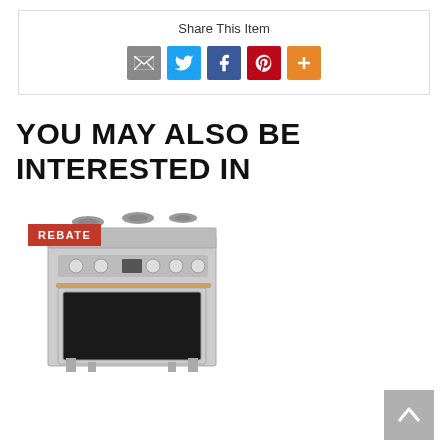Share This Item
[Figure (infographic): Social sharing icons: email (grey), Twitter (blue), Facebook (dark blue), Pinterest (red), More (orange plus)]
YOU MAY ALSO BE INTERESTED IN
[Figure (photo): Stainless steel range/oven with gas burners on top and black oven window, with a red REBATE badge overlay in the top-left corner]
[Figure (other): Scroll-to-top button with upward arrow, grey background, bottom right corner]